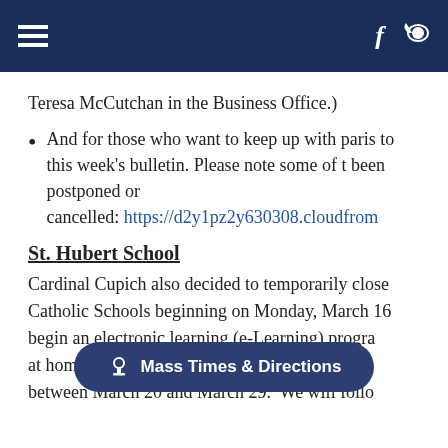Navigation bar with hamburger menu, Facebook icon, and bird/share icon
Teresa McCutchan in the Business Office.)
And for those who want to keep up with parish to this week's bulletin. Please note some of the been postponed or cancelled: https://d2y1pz2y630308.cloudfrom
St. Hubert School
Cardinal Cupich also decided to temporarily close Catholic Schools beginning on Monday, March 16 begin an electronic learning (e-Learning) progra at home. They ad between March 20 and March 29. We will follo